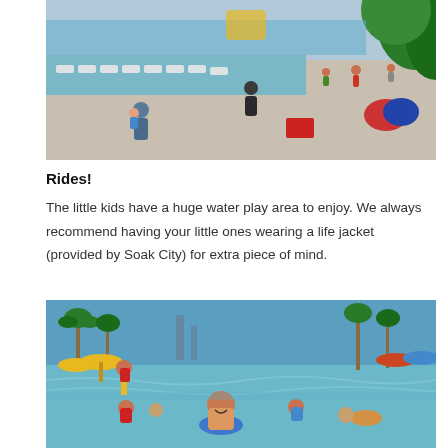[Figure (photo): Overhead view of a crowded water park area with lounge chairs, families walking on concrete paths, a man carrying a child in a life jacket, and tropical plants in the foreground. Life jackets and equipment visible in the background.]
Rides!
The little kids have a huge water play area to enjoy. We always recommend having your little ones wearing a life jacket (provided by Soak City) for extra piece of mind.
[Figure (photo): Crowded wave pool at Soak City water park with palm trees, yellow umbrella shade structures, a blue sky, and a smiling girl in the foreground sitting in a blue inner tube.]